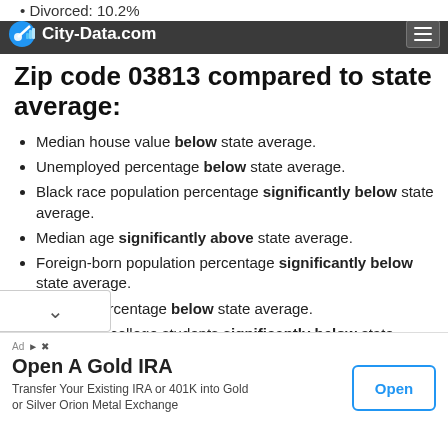City-Data.com
Divorced: 10.2%
Zip code 03813 compared to state average:
Median house value below state average.
Unemployed percentage below state average.
Black race population percentage significantly below state average.
Median age significantly above state average.
Foreign-born population percentage significantly below state average.
Renting percentage below state average.
Number of college students significantly below state average.
Open A Gold IRA — Transfer Your Existing IRA or 401K into Gold or Silver Orion Metal Exchange